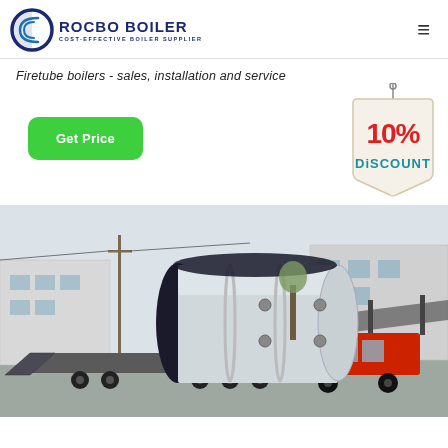ROCBO BOILER - COST-EFFECTIVE BOILER SUPPLIER
Firetube boilers - sales, installation and service
[Figure (infographic): 10% DISCOUNT badge hanging sign]
[Figure (photo): Large industrial firetube boiler loaded on a flatbed truck trailer in a factory yard, with industrial buildings and a covered structure in the background. A red truck cab is visible on the right side.]